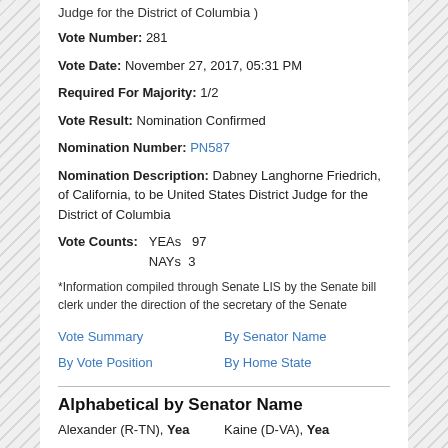Judge for the District of Columbia )
Vote Number: 281
Vote Date: November 27, 2017, 05:31 PM
Required For Majority: 1/2
Vote Result: Nomination Confirmed
Nomination Number: PN587
Nomination Description: Dabney Langhorne Friedrich, of California, to be United States District Judge for the District of Columbia
Vote Counts:  YEAs  97  NAYs  3
*Information compiled through Senate LIS by the Senate bill clerk under the direction of the secretary of the Senate
Vote Summary | By Senator Name | By Vote Position | By Home State
Alphabetical by Senator Name
Alexander (R-TN), Yea    Kaine (D-VA), Yea